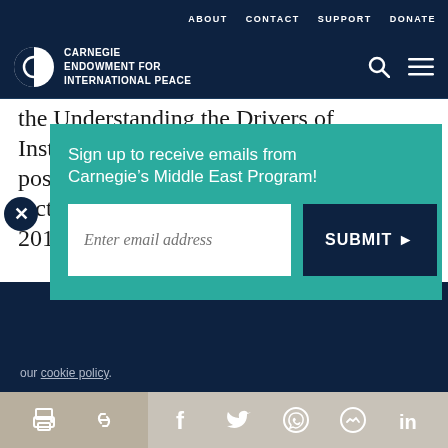ABOUT  CONTACT  SUPPORT  DONATE
[Figure (logo): Carnegie Endowment for International Peace logo with circular icon and white text]
the Understanding the Drivers of Instability in the Arab World conference, posted by “CarnegieLive,” October 29, 2015. https://www.youtube.com/watch?
[Figure (screenshot): Email signup popup overlay on teal background with text: Sign up to receive emails from Carnegie’s Middle East Program!, email input field, and SUBMIT button]
our cookie policy.
Share icons: print, link, facebook, twitter, whatsapp, messenger, linkedin